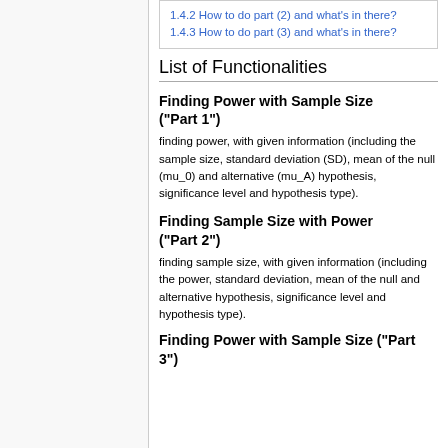1.4.2 How to do part (2) and what's in there?
1.4.3 How to do part (3) and what's in there?
List of Functionalities
Finding Power with Sample Size ("Part 1")
finding power, with given information (including the sample size, standard deviation (SD), mean of the null (mu_0) and alternative (mu_A) hypothesis, significance level and hypothesis type).
Finding Sample Size with Power ("Part 2")
finding sample size, with given information (including the power, standard deviation, mean of the null and alternative hypothesis, significance level and hypothesis type).
Finding Power with Sample Size ("Part 3")